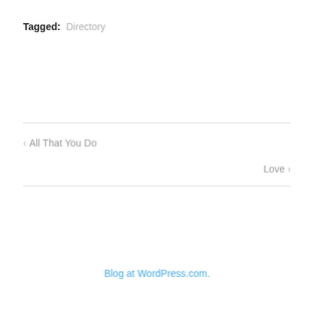Tagged: Directory
< All That You Do
Love >
Blog at WordPress.com.